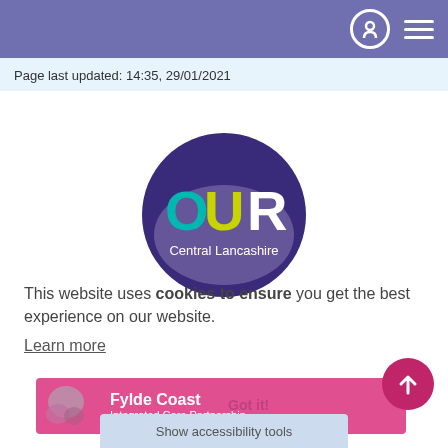Navigation bar with icons
Page last updated: 14:35, 29/01/2021
[Figure (logo): OUR Central Lancashire circular logo with purple background]
This website uses cookies to ensure you get the best experience on our website.
Learn more
[Figure (logo): Fylde Coast Integrated Care Partnership pink banner with map graphic]
Got it!
Show accessibility tools